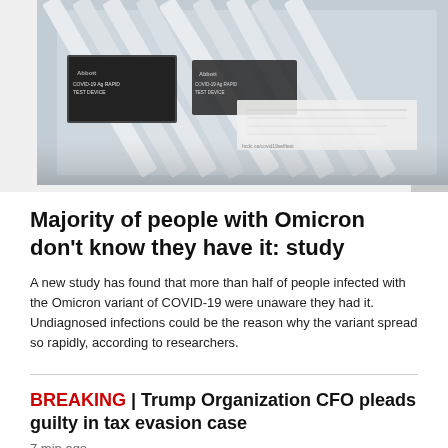[Figure (photo): Close-up photo of multiple COVID-19 Abbott rapid test device kits stacked together]
Majority of people with Omicron don't know they have it: study
A new study has found that more than half of people infected with the Omicron variant of COVID-19 were unaware they had it. Undiagnosed infections could be the reason why the variant spread so rapidly, according to researchers.
BREAKING | Trump Organization CFO pleads guilty in tax evasion case
7 min ago
Canada-wide shortage of liquid Children's